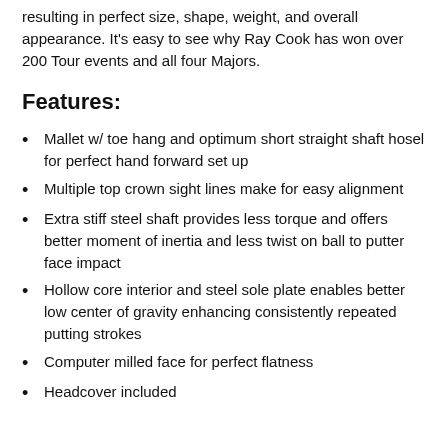resulting in perfect size, shape, weight, and overall appearance. It's easy to see why Ray Cook has won over 200 Tour events and all four Majors.
Features:
Mallet w/ toe hang and optimum short straight shaft hosel for perfect hand forward set up
Multiple top crown sight lines make for easy alignment
Extra stiff steel shaft provides less torque and offers better moment of inertia and less twist on ball to putter face impact
Hollow core interior and steel sole plate enables better low center of gravity enhancing consistently repeated putting strokes
Computer milled face for perfect flatness
Headcover included